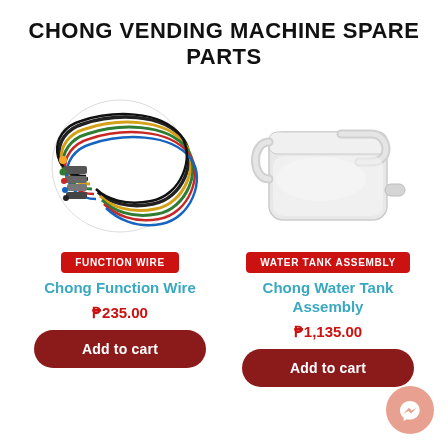CHONG VENDING MACHINE SPARE PARTS
[Figure (photo): Colored function wire harness with multiple connectors on a white background]
[Figure (photo): White plastic water tank assembly with handle and spout on a white background]
FUNCTION WIRE
WATER TANK ASSEMBLY
Chong Function Wire
Chong Water Tank Assembly
₱235.00
₱1,135.00
Add to cart
Add to cart